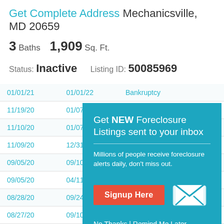Get Complete Address Mechanicsville, MD 20659
3 Baths 1,909 Sq. Ft.
Status: Inactive   Listing ID: 50085969
|  |  |  |
| --- | --- | --- |
| 01/01/21 | 01/01/22 | Bankruptcy |
| 11/19/20 | 01/07/21 | Preforeclosure |
| 11/10/20 | 01/07 |  |
| 11/09/20 | 12/31 |  |
| 09/05/20 | 09/10 |  |
| 09/05/20 | 04/11 |  |
| 08/28/20 | 09/24 |  |
| 08/27/20 | 09/10 |  |
| 08/25/20 | 09/24/20 | Preforeclosure |
| 12/02/15 | 03/31/16 | Preforeclosure |
[Figure (infographic): Popup overlay: Get NEW Foreclosure Listings sent to your inbox. Millions of people receive foreclosure alerts daily, don't miss out. Signup Here button. No Thanks | Remind Me Later links. Envelope icon graphic.]